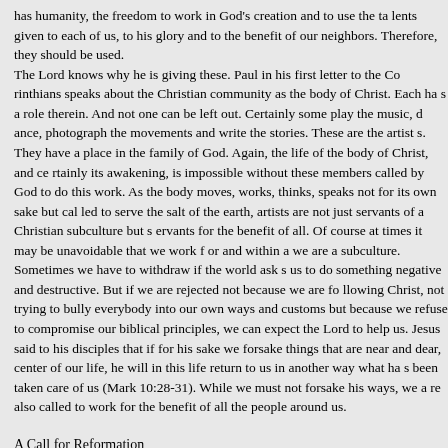has humanity, the freedom to work in God's creation and to use the talents given to each of us, to his glory and to the benefit of our neighbors. Therefore, they should be used. The Lord knows why he is giving these. Paul in his first letter to the Corinthians speaks about the Christian community as the body of Christ. Each has a role therein. And not one can be left out. Certainly some play the music, dance, photograph the movements and write the stories. These are the artists. They have a place in the family of God. Again, the life of the body of Christ, and certainly its awakening, is impossible without these members called by God to do this work. As the body moves, works, thinks, speaks not for its own sake but called to serve the salt of the earth, artists are not just servants of a Christian subculture but servants for the benefit of all. Of course at times it may be unavoidable that we work for and within a we are a subculture. Sometimes we have to withdraw if the world asks us to do something negative and destructive. But if we are rejected not because we are following Christ, not trying to bully everybody into our own ways and customs but because we refuse to compromise our biblical principles, we can expect the Lord to help us. Jesus said to his disciples that if for his sake we forsake things that are near and dear, center of our life, he will in this life return to us in another way what has been taken care of us (Mark 10:28-31). While we must not forsake his ways, we are also called to work for the benefit of all the people around us.
A Call for Reformation